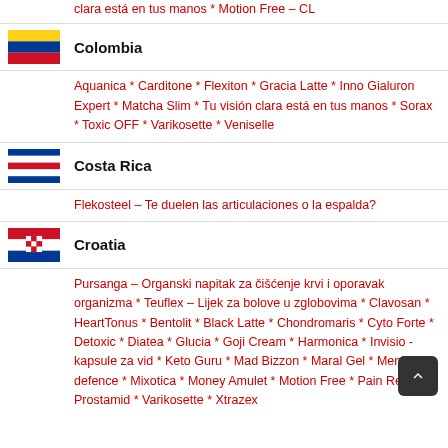clara está en tus manos * Motion Free – CL
Colombia
Aquanica * Carditone * Flexiton * Gracia Latte * Inno Gialuron Expert * Matcha Slim * Tu visión clara está en tus manos * Sorax * Toxic OFF * Varikosette * Veniselle
Costa Rica
Flekosteel – Te duelen las articulaciones o la espalda?
Croatia
Pursanga – Organski napitak za čišćenje krvi i oporavak organizma * Teuflex – Lijek za bolove u zglobovima * Clavosan * HeartTonus * Bentolit * Black Latte * Chondromaris * Cyto Forte * Detoxic * Diatea * Glucia * Goji Cream * Harmonica * Invisio - kapsule za vid * Keto Guru * Mad Bizzon * Maral Gel * Men's defence * Mixotica * Money Amulet * Motion Free * Pain Relief * Prostamid * Varikosette * Xtrazex